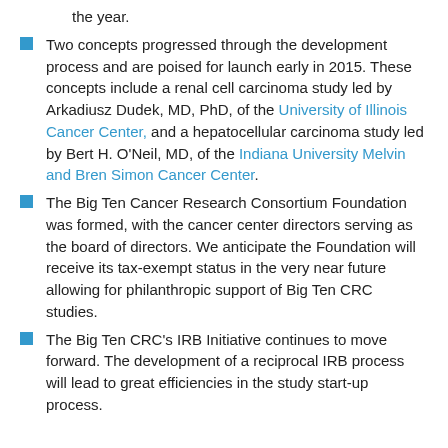the year.
Two concepts progressed through the development process and are poised for launch early in 2015. These concepts include a renal cell carcinoma study led by Arkadiusz Dudek, MD, PhD, of the University of Illinois Cancer Center, and a hepatocellular carcinoma study led by Bert H. O'Neil, MD, of the Indiana University Melvin and Bren Simon Cancer Center.
The Big Ten Cancer Research Consortium Foundation was formed, with the cancer center directors serving as the board of directors. We anticipate the Foundation will receive its tax-exempt status in the very near future allowing for philanthropic support of Big Ten CRC studies.
The Big Ten CRC's IRB Initiative continues to move forward. The development of a reciprocal IRB process will lead to great efficiencies in the study start-up process.